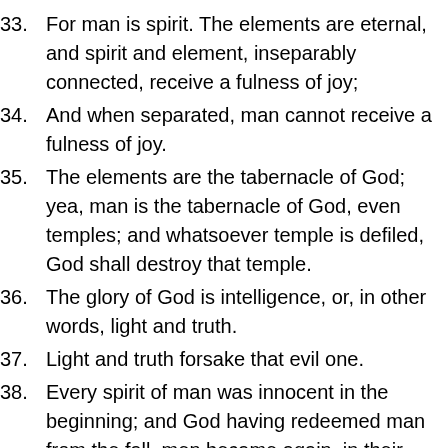33. For man is spirit. The elements are eternal, and spirit and element, inseparably connected, receive a fulness of joy;
34. And when separated, man cannot receive a fulness of joy.
35. The elements are the tabernacle of God; yea, man is the tabernacle of God, even temples; and whatsoever temple is defiled, God shall destroy that temple.
36. The glory of God is intelligence, or, in other words, light and truth.
37. Light and truth forsake that evil one.
38. Every spirit of man was innocent in the beginning; and God having redeemed man from the fall, men became again, in their